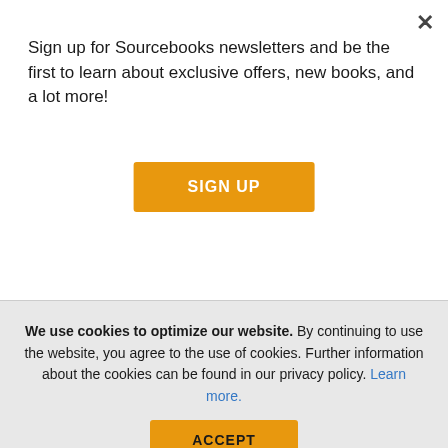Sign up for Sourcebooks newsletters and be the first to learn about exclusive offers, new books, and a lot more!
SIGN UP
SUBSCRIBE
Terms & Conditions
* Free standard economy shipping is valid on U.S. orders of $20.00 or more. Order totals are calculated before tax. Offer is valid for a single order to a
We use cookies to optimize our website. By continuing to use the website, you agree to the use of cookies. Further information about the cookies can be found in our privacy policy. Learn more.
ACCEPT